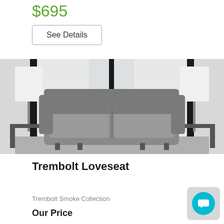$695
See Details
[Figure (photo): Gray leather loveseat (Trembolt) in a living room setting with lamps and a patterned rug]
Trembolt Loveseat
Trembolt Smoke Collection
Our Price